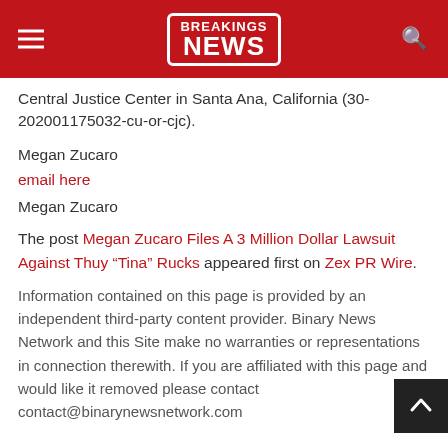BREAKINGS NEWS
Central Justice Center in Santa Ana, California (30-202001175032-cu-or-cjc).
Megan Zucaro
email here
Megan Zucaro
The post Megan Zucaro Files A 3 Million Dollar Lawsuit Against Thuy “Tina” Rucks appeared first on Zex PR Wire.
Information contained on this page is provided by an independent third-party content provider. Binary News Network and this Site make no warranties or representations in connection therewith. If you are affiliated with this page and would like it removed please contact contact@binarynewsnetwork.com